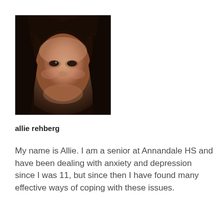[Figure (photo): Close-up portrait photo of a young woman with dark hair, looking slightly to the side, taken in low/indoor lighting.]
allie rehberg
My name is Allie. I am a senior at Annandale HS and have been dealing with anxiety and depression since I was 11, but since then I have found many effective ways of coping with these issues.